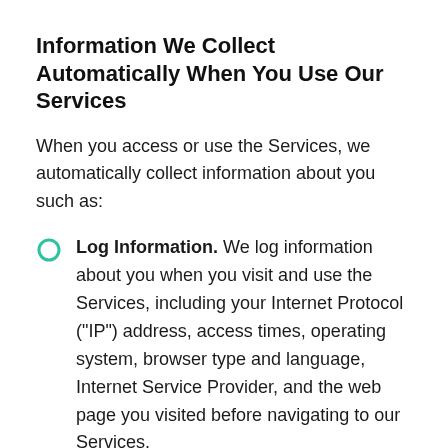Information We Collect Automatically When You Use Our Services
When you access or use the Services, we automatically collect information about you such as:
Log Information. We log information about you when you visit and use the Services, including your Internet Protocol ("IP") address, access times, operating system, browser type and language, Internet Service Provider, and the web page you visited before navigating to our Services.